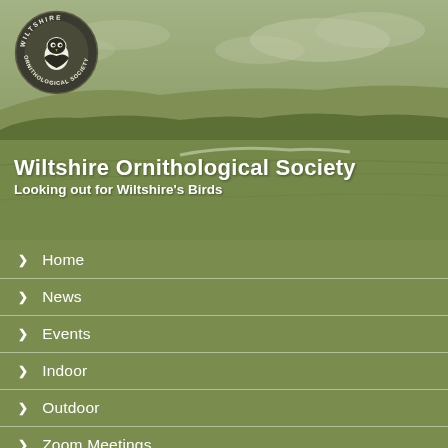[Figure (photo): Aerial countryside landscape photo of Wiltshire hills and fields with olive/green tint overlay]
[Figure (logo): Wiltshire Ornithological Society circular logo with bird illustration and text around the border]
Wiltshire Ornithological Society
Looking out for Wiltshire's Birds
Home
News
Events
Indoor
Outdoor
Zoom Meetings
Sightings
Records